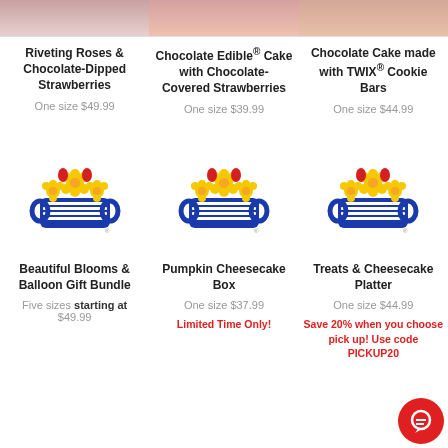[Figure (photo): Top partial image of Riveting Roses & Chocolate-Dipped Strawberries product]
[Figure (photo): Top partial image of Chocolate Edible Cake with Chocolate-Covered Strawberries product]
[Figure (photo): Top partial image of Chocolate Cake made with TWIX Cookie Bars product]
Riveting Roses & Chocolate-Dipped Strawberries
One size $49.99
Chocolate Edible® Cake with Chocolate-Covered Strawberries
One size $39.99
Chocolate Cake made with TWIX® Cookie Bars
One size $44.99
[Figure (logo): 1-800-Flowers basket with flowers logo]
[Figure (logo): 1-800-Flowers basket with flowers logo]
[Figure (logo): 1-800-Flowers basket with flowers logo]
Beautiful Blooms & Balloon Gift Bundle
Five sizes starting at $49.99
Pumpkin Cheesecake Box
One size $37.99
Limited Time Only!
Treats & Cheesecake Platter
One size $44.99
Save 20% when you choose pick up! Use code PICKUP20